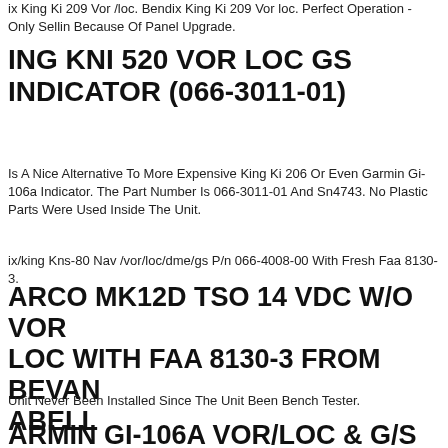ix King Ki 209 Vor /loc. Bendix King Ki 209 Vor loc. Perfect Operation - Only Selling Because Of Panel Upgrade.
ING KNI 520 VOR LOC GS INDICATOR (066-3011-01)
Is A Nice Alternative To More Expensive King Ki 206 Or Even Garmin Gi-106a Indicator. The Part Number Is 066-3011-01 And Sn4743. No Plastic Parts Were Used Inside The Unit.
ix/king Kns-80 Nav /vor/loc/dme/gs P/n 066-4008-00 With Fresh Faa 8130-3.
ARCO MK12D TSO 14 VDC W/O VOR LOC WITH FAA 8130-3 FROM BEVAN ABELL
Unit Never Been Installed Since The Unit Been Bench Tester.
ARMIN GI-106A VOR/LOC & G/S ILS CDI INDICATOR - P/N 013-00049-01
ator Glideslope Gi 106a. We Are A Brazilian Air Salvage. Everthing In The Photos Are As Are. Number 90136 -.